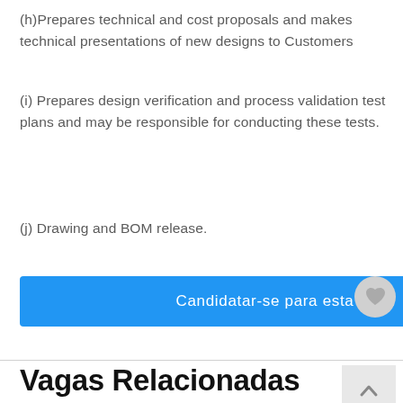(h)Prepares technical and cost proposals and makes technical presentations of new designs to Customers
(i) Prepares design verification and process validation test plans and may be responsible for conducting these tests.
(j) Drawing and BOM release.
Candidatar-se para esta vaga
Vagas Relacionadas